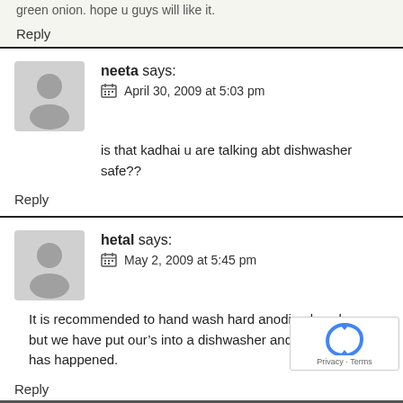green onion. hope u guys will like it.
Reply
neeta says:
April 30, 2009 at 5:03 pm
is that kadhai u are talking abt dishwasher safe??
Reply
hetal says:
May 2, 2009 at 5:45 pm
It is recommended to hand wash hard anodized cookware, but we have put our’s into a dishwasher and nothing bad has happened.
Reply